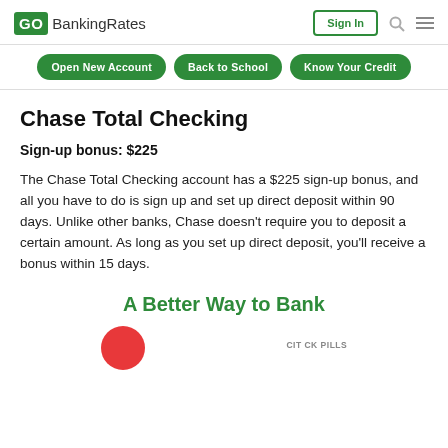GO BankingRates | Sign In
Open New Account | Back to School | Know Your Credit
Chase Total Checking
Sign-up bonus: $225
The Chase Total Checking account has a $225 sign-up bonus, and all you have to do is sign up and set up direct deposit within 90 days. Unlike other banks, Chase doesn't require you to deposit a certain amount. As long as you set up direct deposit, you'll receive a bonus within 15 days.
A Better Way to Bank